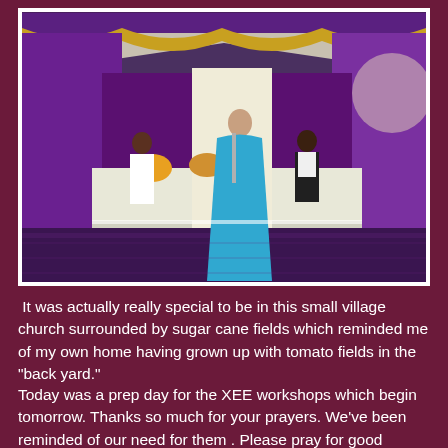[Figure (photo): A woman in a blue dress speaking at a microphone in a decorated church hall with purple and gold draping. Two men are seated on the stage behind her.]
It was actually really special to be in this small village church surrounded by sugar cane fields which reminded me of my own home having grown up with tomato fields in the "back yard."
Today was a prep day for the XEE workshops which begin tomorrow. Thanks so much for your prayers. We've been reminded of our need for them . Please pray for good health, unity, and protection and for open hearts as we train and